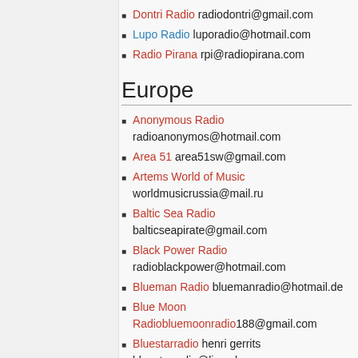Dontri Radio radiodontri@gmail.com
Lupo Radio luporadio@hotmail.com
Radio Pirana rpi@radiopirana.com
Europe
Anonymous Radio radioanonymos@hotmail.com
Area 51 area51sw@gmail.com
Artems World of Music worldmusicrussia@mail.ru
Baltic Sea Radio balticseapirate@gmail.com
Black Power Radio radioblackpower@hotmail.com
Blueman Radio bluemanradio@hotmail.de
Blue Moon Radiobluemoonradio188@gmail.com
Bluestarradio henri gerrits bluestarradio@live.nl
Borderhunter Radio